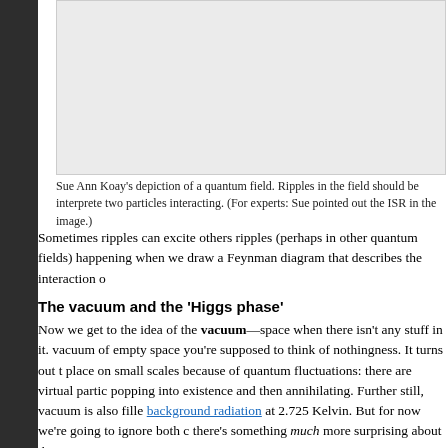[Figure (photo): Light gray rectangular image area depicting a quantum field, as drawn by Sue Ann Koay.]
Sue Ann Koay's depiction of a quantum field. Ripples in the field should be interpreted as two particles interacting. (For experts: Sue pointed out the ISR in the image.)
Sometimes ripples can excite others ripples (perhaps in other quantum fields) happening when we draw a Feynman diagram that describes the interaction o
The vacuum and the 'Higgs phase'
Now we get to the idea of the vacuum—space when there isn't any stuff in it. vacuum of empty space you're supposed to think of nothingness. It turns out t place on small scales because of quantum fluctuations: there are virtual partic popping into existence and then annihilating. Further still, vacuum is also fille background radiation at 2.725 Kelvin. But for now we're going to ignore both c there's something much more surprising about the vacuum:
It's full of Higgs bosons.
The quantum field for normal particle species like electrons or quarks is zero e are particles moving around. Particles are wiggles on top of this zero value. Th